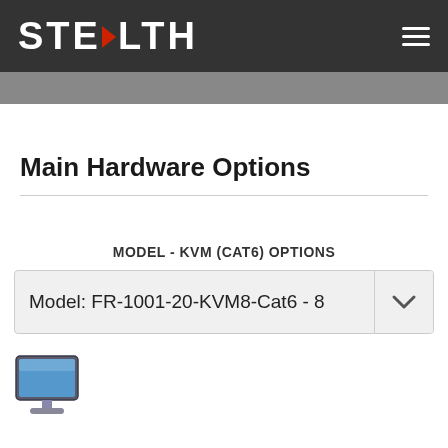STEALTH
Main Hardware Options
MODEL - KVM (CAT6) OPTIONS
Model: FR-1001-20-KVM8-Cat6 - 8
[Figure (illustration): Small monitor/display icon with blue screen and dark frame, resembling a classic CRT or flat-panel monitor thumbnail]